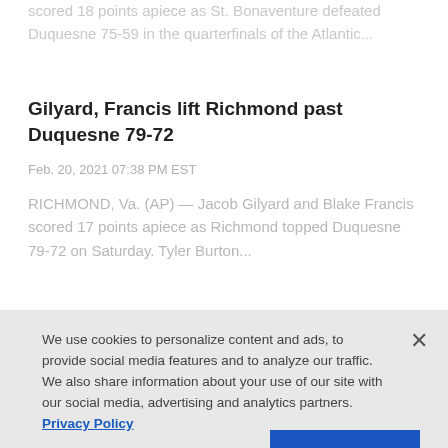scored 18 points apiece as St. Bonaventure defeated Duquesne 75-59 in the quarterfinals of the Atlantic...
Gilyard, Francis lift Richmond past Duquesne 79-72
Feb. 20, 2021 07:38 PM EST
RICHMOND, Va. (AP) — Jacob Gilyard and Blake Francis scored 17 points apiece as Richmond topped Duquesne 79-72 on Saturday. Tyler Burton...
We use cookies to personalize content and ads, to provide social media features and to analyze our traffic. We also share information about your use of our site with our social media, advertising and analytics partners. Privacy Policy